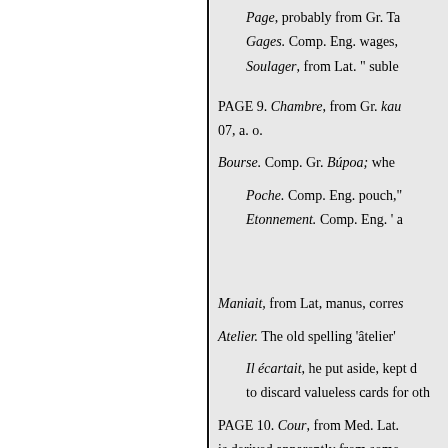Page, probably from Gr. Ta
Gages. Comp. Eng. wages,
Soulager, from Lat. " suble
PAGE 9. Chambre, from Gr. kau 07, a. o.
Bourse. Comp. Gr. Búpoa; whe
Poche. Comp. Eng. pouch,"
Etonnement. Comp. Eng. ' a
Maniait, from Lat, manus, corres
Atelier. The old spelling 'âtelier'
Il écartait, he put aside, kept d to discard valueless cards for oth
PAGE 10. Cour, from Med. Lat. is derived apparently from some yard.' Comp. * basse-cour,' poult
Ecu, from Lat. scutum,' okúros, s